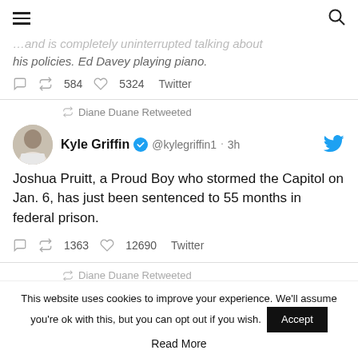hamburger menu and search icon
…and is completely uninterrupted talking about his policies. Ed Davey playing piano.
584 retweets 5324 likes Twitter
Diane Duane Retweeted
Kyle Griffin @kylegriffin1 · 3h
Joshua Pruitt, a Proud Boy who stormed the Capitol on Jan. 6, has just been sentenced to 55 months in federal prison.
1363 retweets 12690 likes Twitter
Diane Duane Retweeted
This website uses cookies to improve your experience. We'll assume you're ok with this, but you can opt out if you wish. Accept Read More